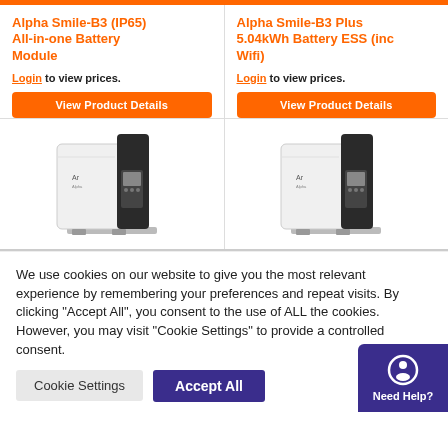Alpha Smile-B3 (IP65) All-in-one Battery Module
Login to view prices.
View Product Details
Alpha Smile-B3 Plus 5.04kWh Battery ESS (inc Wifi)
Login to view prices.
View Product Details
[Figure (photo): Alpha Smile-B3 battery module product image, white rectangular unit with black panel]
[Figure (photo): Alpha Smile-B3 Plus battery module product image, white rectangular unit with black panel]
We use cookies on our website to give you the most relevant experience by remembering your preferences and repeat visits. By clicking "Accept All", you consent to the use of ALL the cookies. However, you may visit "Cookie Settings" to provide a controlled consent.
Cookie Settings
Accept All
Need Help?